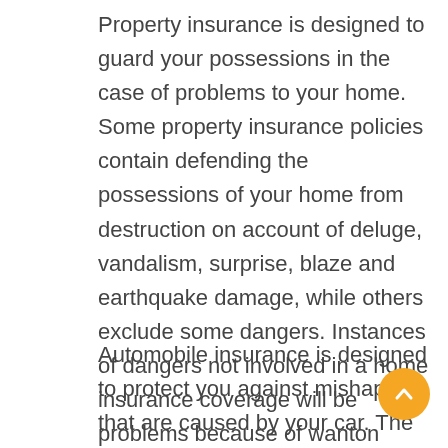Property insurance is designed to guard your possessions in the case of problems to your home. Some property insurance policies contain defending the possessions of your home from destruction on account of deluge, vandalism, surprise, blaze and earthquake damage, while others exclude some dangers. Instances of dangers not involved in a home insurance coverage will be problems because of wanton damage or maybe react of mother nature. You could protect yourself to protect against break-ins, fireplace and drinking water destruction. There are many forms of property insurance available for policyholders.
Automobile insurance is designed to protect you against mishaps that are caused by your car. The standard form of car insurance policy is 3rd party liability insurance. This insurance plan shields